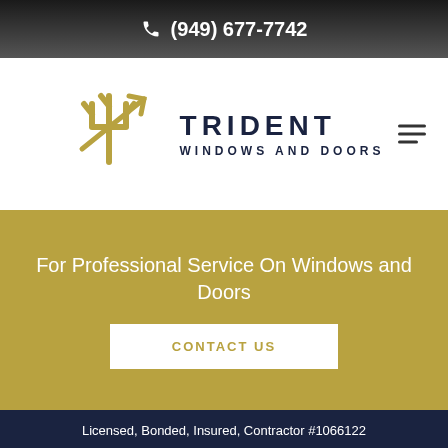(949) 677-7742
[Figure (logo): Trident Windows and Doors logo with gold trident icon and dark navy text]
For Professional Service On Windows and Doors
CONTACT US
Licensed, Bonded, Insured, Contractor #1066122